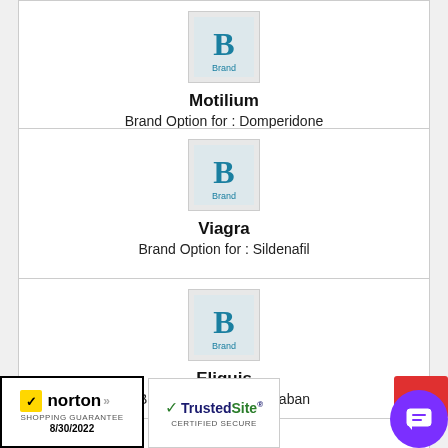[Figure (logo): Brand placeholder logo with letter B in teal]
Motilium
Brand Option for : Domperidone
[Figure (logo): Brand placeholder logo with letter B in teal]
Viagra
Brand Option for : Sildenafil
[Figure (logo): Brand placeholder logo with letter B in teal]
Eliquis
Brand Option for : Apixaban
[Figure (logo): Brand placeholder logo with letter B in teal (partial card)]
[Figure (logo): Norton Shopping Guarantee badge 8/30/2022]
[Figure (logo): TrustedSite Certified Secure badge]